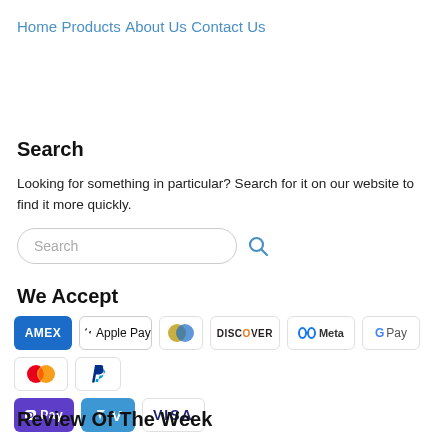Home
Products
About Us
Contact Us
Search
Looking for something in particular? Search for it on our website to find it more quickly.
[Figure (other): Search input field with placeholder text 'Search' and a blue search icon]
We Accept
[Figure (other): Payment method logos: AMEX, Apple Pay, Diners Club, Discover, Meta Pay, Google Pay, Mastercard, PayPal, OPay, Venmo, VISA]
Review Of The Week